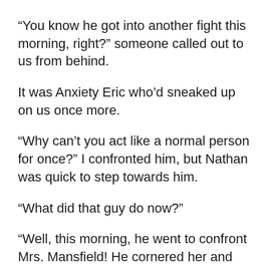“You know he got into another fight this morning, right?” someone called out to us from behind.
It was Anxiety Eric who’d sneaked up on us once more.
“Why can’t you act like a normal person for once?” I confronted him, but Nathan was quick to step towards him.
“What did that guy do now?”
“Well, this morning, he went to confront Mrs. Mansfield! He cornered her and asked her all sorts of questions, but then one of the substitute teachers stepped in and told him to get out of here.”